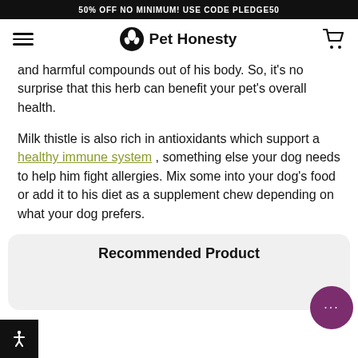50% OFF NO MINIMUM! USE CODE PLEDGE50
[Figure (logo): Pet Honesty logo with hamburger menu icon on left and cart icon on right]
and harmful compounds out of his body. So, it's no surprise that this herb can benefit your pet's overall health.
Milk thistle is also rich in antioxidants which support a healthy immune system , something else your dog needs to help him fight allergies. Mix some into your dog's food or add it to his diet as a supplement chew depending on what your dog prefers.
Recommended Product